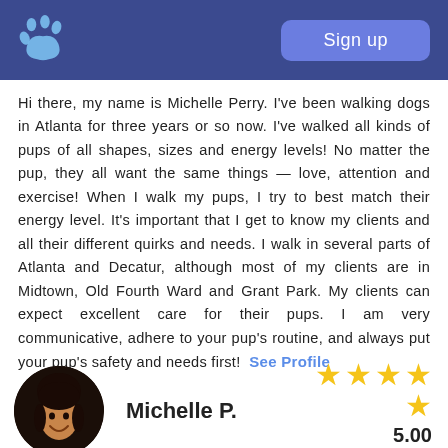Sign up
Hi there, my name is Michelle Perry. I've been walking dogs in Atlanta for three years or so now. I've walked all kinds of pups of all shapes, sizes and energy levels! No matter the pup, they all want the same things — love, attention and exercise! When I walk my pups, I try to best match their energy level. It's important that I get to know my clients and all their different quirks and needs. I walk in several parts of Atlanta and Decatur, although most of my clients are in Midtown, Old Fourth Ward and Grant Park. My clients can expect excellent care for their pups. I am very communicative, adhere to your pup's routine, and always put your pup's safety and needs first! See Profile
[Figure (photo): Circular profile photo of Michelle P., a smiling woman with dark hair]
Michelle P.
[Figure (other): 5-star rating display showing 5 gold stars (4 in a row, 1 below), rating 5.00, (0 reviews)]
5.00
(0 reviews)